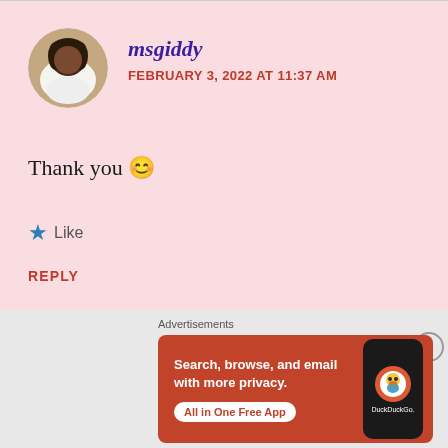[Figure (photo): Circular avatar photo of user msgiddy, a woman with dark hair]
msgiddy
FEBRUARY 3, 2022 AT 11:37 AM
Thank you 😊
★ Like
REPLY
Advertisements
[Figure (screenshot): DuckDuckGo advertisement banner: Search, browse, and email with more privacy. All in One Free App. Shows DuckDuckGo logo on a phone.]